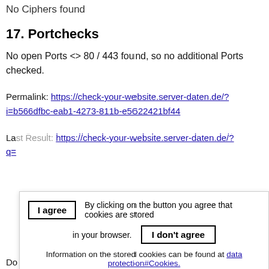No Ciphers found
17. Portchecks
No open Ports <> 80 / 443 found, so no additional Ports checked.
Permalink: https://check-your-website.server-daten.de/?i=b566dfbc-eab1-4273-811b-e5622421bf44
Last Result: https://check-your-website.server-daten.de/?q=...
Cookie consent overlay: I agree | By clicking on the button you agree that cookies are stored in your browser. | I don't agree | Information on the stored cookies can be found at data protection#Cookies.
Do you like this page? Support this tool, add a link on your